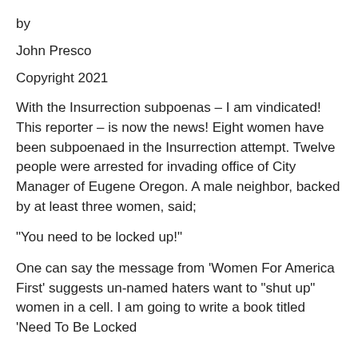by
John Presco
Copyright 2021
With the Insurrection subpoenas – I am vindicated! This reporter – is now the news! Eight women have been subpoenaed in the Insurrection attempt. Twelve people were arrested for invading office of City Manager of Eugene Oregon. A male neighbor, backed by at least three women, said;
“You need to be locked up!”
One can say the message from ‘Women For America First’ suggests un-named haters want to “shut up” women in a cell. I am going to write a book titled ‘Need To Be Locked